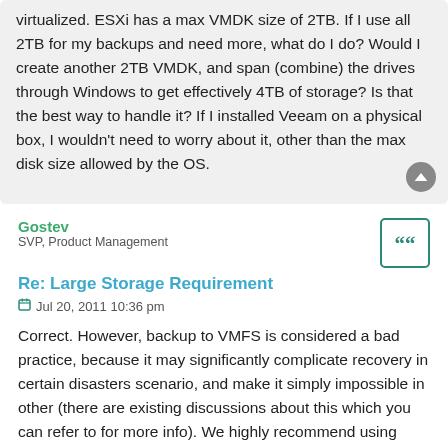virtualized. ESXi has a max VMDK size of 2TB. If I use all 2TB for my backups and need more, what do I do? Would I create another 2TB VMDK, and span (combine) the drives through Windows to get effectively 4TB of storage? Is that the best way to handle it? If I installed Veeam on a physical box, I wouldn't need to worry about it, other than the max disk size allowed by the OS.
Gostev
SVP, Product Management
Re: Large Storage Requirement
Jul 20, 2011 10:36 pm
Correct. However, backup to VMFS is considered a bad practice, because it may significantly complicate recovery in certain disasters scenario, and make it simply impossible in other (there are existing discussions about this which you can refer to for more info). We highly recommend using proper backup targets instead, and when running Veeam in VM, the best choice is NTFS formatted LUN on iSCSI storage. This will provide you with up to 16TB storage per